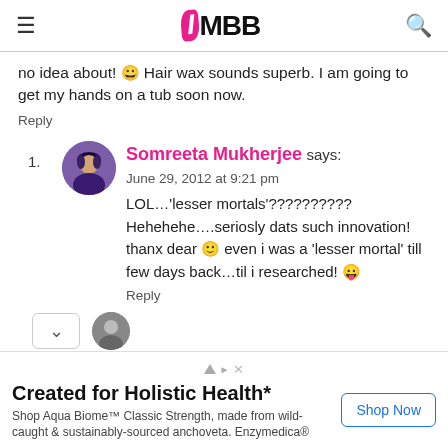IMBB
no idea about! 😀 Hair wax sounds superb. I am going to get my hands on a tub soon now.
Reply
1. Somreeta Mukherjee says: June 29, 2012 at 9:21 pm
LOL…'lesser mortals'?????????? Hehehehe….seriosly dats such innovation! thanx dear 🙂 even i was a 'lesser mortal' till few days back…til i researched! 😛
Reply
Created for Holistic Health*
Shop Aqua Biome™ Classic Strength, made from wild-caught & sustainably-sourced anchoveta. Enzymedica®